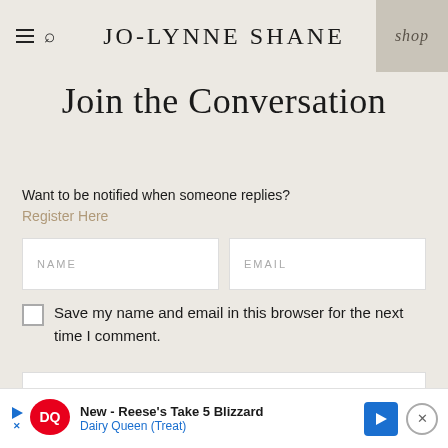JO-LYNNE SHANE
Join the Conversation
Want to be notified when someone replies?
Register Here
NAME
EMAIL
Save my name and email in this browser for the next time I comment.
YOUR COMMENT
[Figure (infographic): Dairy Queen advertisement banner: New - Reese's Take 5 Blizzard, Dairy Queen (Treat)]